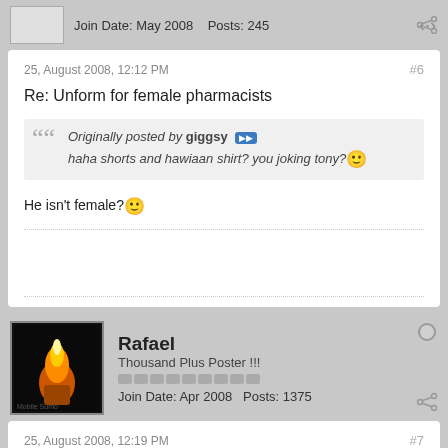Join Date: May 2008    Posts: 245
25, August 2008, 12:12 PM    #6
Re: Unform for female pharmacists
Originally posted by giggsy ▶▶
haha shorts and hawiaan shirt? you joking tony? 😊
He isn't female? 😊
Rafael
Thousand Plus Poster !!!
Join Date: Apr 2008    Posts: 1375
25, August 2008, 12:19 PM    #7